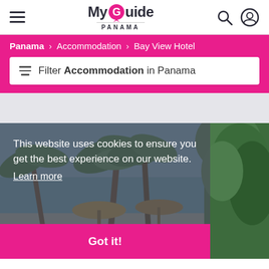My Guide Panama — navigation header with hamburger menu, logo, search and profile icons
Panama > Accommodation > Bay View Hotel
Filter Accommodation in Panama
[Figure (photo): Tropical beach scene with palm trees, thatched umbrellas, pink chairs and tables, ocean in background, lush green vegetation on right side]
This website uses cookies to ensure you get the best experience on our website. Learn more
Got it!